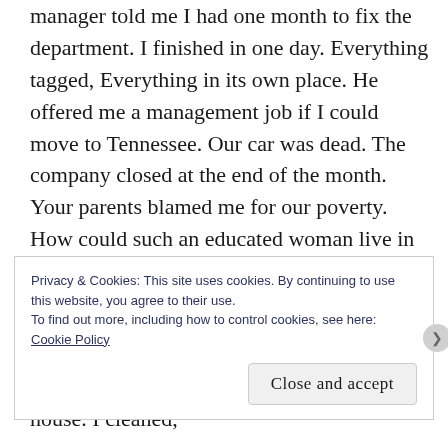manager told me I had one month to fix the department. I finished in one day. Everything tagged, Everything in its own place. He offered me a management job if I could move to Tennessee. Our car was dead. The company closed at the end of the month. Your parents blamed me for our poverty. How could such an educated woman live in squalor? You were expunged from the US Army's roll call.
My aunt and uncle tried to straighten you out. They fixed me. I could smile at their house. I cleaned,
Privacy & Cookies: This site uses cookies. By continuing to use this website, you agree to their use.
To find out more, including how to control cookies, see here:
Cookie Policy